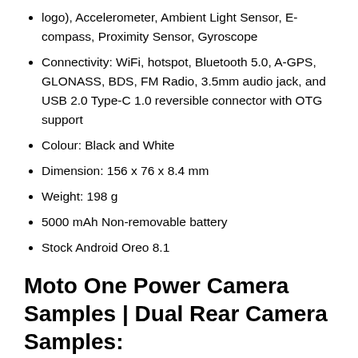logo), Accelerometer, Ambient Light Sensor, E-compass, Proximity Sensor, Gyroscope
Connectivity: WiFi, hotspot, Bluetooth 5.0, A-GPS, GLONASS, BDS, FM Radio, 3.5mm audio jack, and USB 2.0 Type-C 1.0 reversible connector with OTG support
Colour: Black and White
Dimension: 156 x 76 x 8.4 mm
Weight: 198 g
5000 mAh Non-removable battery
Stock Android Oreo 8.1
Moto One Power Camera Samples | Dual Rear Camera Samples:
Below embedded photos are taken by the dual rear camera. These Moto One Power camera samples are low-